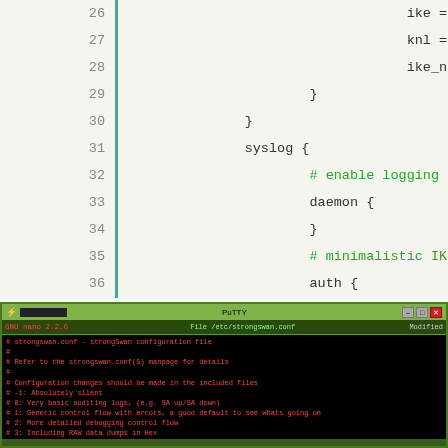[Figure (screenshot): Code editor showing lines 26-43 of a strongSwan configuration file with syntax highlighting. Lines include ike=0, knl=0, ike_name=yes, syslog block with daemon and auth sub-blocks, and include strongswan.d/*.conf statement.]
[Figure (screenshot): PuTTY terminal screenshot showing a nano/text editor session editing /etc/strongswan.conf. The file content shows strongswan.conf configuration comments and a charon block beginning.]